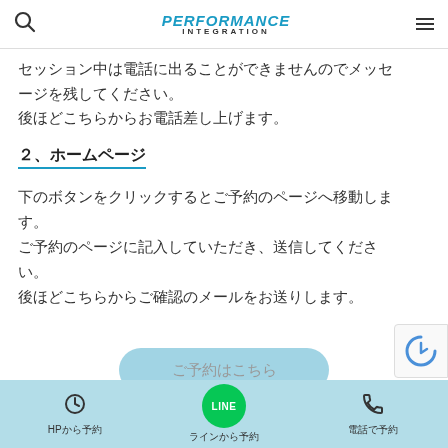PERFORMANCE INTEGRATION
セッション中は電話に出ることができませんのでメッセージを残してください。
後ほどこちらからお電話差し上げます。
２、ホームページ
下のボタンをクリックするとご予約のページへ移動します。
ご予約のページに記入していただき、送信してください。
後ほどこちらからご確認のメールをお送りします。
HPから予約　ラインから予約　電話で予約